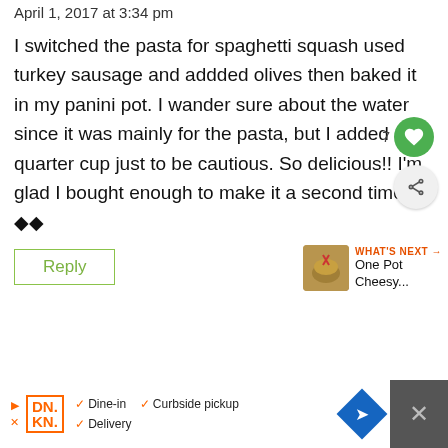April 1, 2017 at 3:34 pm
I switched the pasta for spaghetti squash used turkey sausage and addded olives then baked it in my panini pot. I wander sure about the water since it was mainly for the pasta, but I added a quarter cup just to be cautious. So delicious!! I'm glad I bought enough to make it a second time ◆◆
Reply
WHAT'S NEXT → One Pot Cheesy...
DN. KN. ✓ Dine-in ✓ Curbside pickup ✓ Delivery